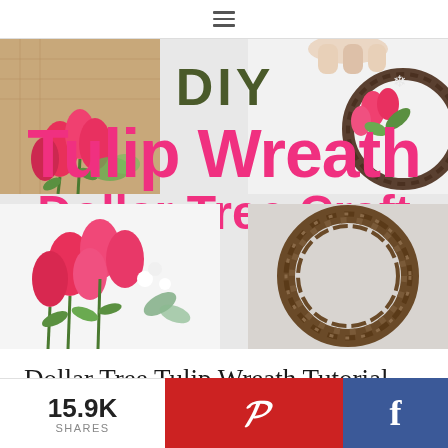≡
[Figure (photo): Composite image showing DIY Tulip Wreath Dollar Tree Craft. Top left: burlap and pink tulips. Top right: person holding wreath with flowers. Center: large bold text 'DIY Tulip Wreath Dollar Tree Craft' in dark olive and hot pink. Bottom left: pink tulips bouquet. Bottom right: grapevine wreath closeup.]
Dollar Tree Tulip Wreath Tutorial
15.9K SHARES
[Figure (logo): Pinterest logo (P) on red background]
[Figure (logo): Facebook logo (f) on blue background]